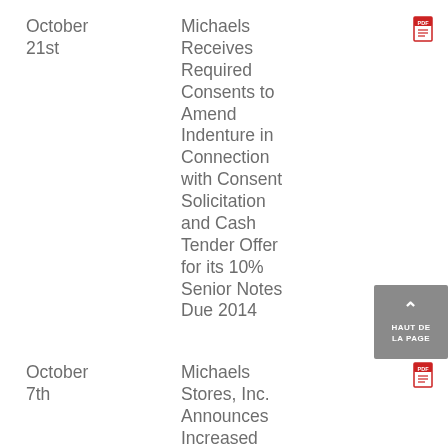October 21st — Michaels Receives Required Consents to Amend Indenture in Connection with Consent Solicitation and Cash Tender Offer for its 10% Senior Notes Due 2014
October 7th — Michaels Stores, Inc. Announces Increased Consideration for Its 10% Senior Notes